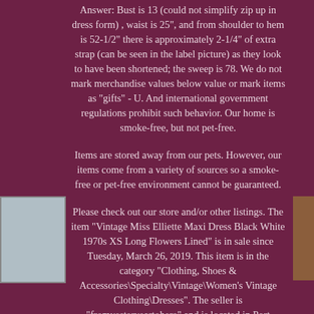Answer: Bust is 13 (could not simplify zip up in dress form) , waist is 25", and from shoulder to hem is 52-1/2" there is approximately 2-1/4" of extra strap (can be seen in the label picture) as they look to have been shortened; the sweep is 78. We do not mark merchandise values below value or mark items as "gifts" - U. And international government regulations prohibit such behavior. Our home is smoke-free, but not pet-free.
Items are stored away from our pets. However, our items come from a variety of sources so a smoke-free or pet-free environment cannot be guaranteed.
Please check out our store and/or other listings. The item "Vintage Miss Elliette Maxi Dress Black White 1970s XS Long Flowers Lined" is in sale since Tuesday, March 26, 2019. This item is in the category "Clothing, Shoes & Accessories\Specialty\Vintage\Women's Vintage Clothing\Dresses". The seller is "fromyesteryeartohere" and is located in Port Orange, Florida. This item can be shipped worldwide.